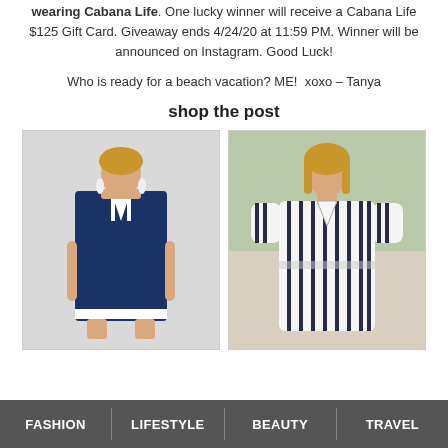wearing Cabana Life. One lucky winner will receive a Cabana Life $125 Gift Card. Giveaway ends 4/24/20 at 11:59 PM. Winner will be announced on Instagram. Good Luck!
Who is ready for a beach vacation? ME!  xoxo – Tanya
shop the post
[Figure (photo): Woman wearing a navy blue sleeveless dress with white trim, standing against a white wall]
[Figure (photo): Woman wearing a white and navy striped short-sleeve dress, standing outdoors]
FASHION  |  LIFESTYLE  |  BEAUTY  |  TRAVEL